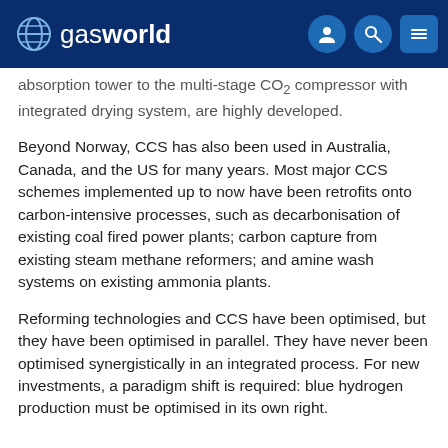gasworld
absorption tower to the multi-stage CO₂ compressor with integrated drying system, are highly developed.
Beyond Norway, CCS has also been used in Australia, Canada, and the US for many years. Most major CCS schemes implemented up to now have been retrofits onto carbon-intensive processes, such as decarbonisation of existing coal fired power plants; carbon capture from existing steam methane reformers; and amine wash systems on existing ammonia plants.
Reforming technologies and CCS have been optimised, but they have been optimised in parallel. They have never been optimised synergistically in an integrated process. For new investments, a paradigm shift is required: blue hydrogen production must be optimised in its own right.